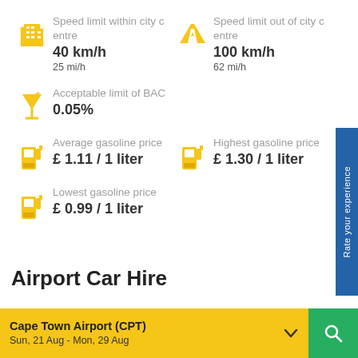Speed limit within city centre
40 km/h
25 mi/h
Speed limit out of city centre
100 km/h
62 mi/h
Acceptable limit of BAC
0.05%
Average gasoline price
£ 1.11 / 1 liter
Highest gasoline price
£ 1.30 / 1 liter
Lowest gasoline price
£ 0.99 / 1 liter
Airport Car Hire
Cape Town Airport (CPT)
Sun, 21 Aug - Mon, 29 Aug